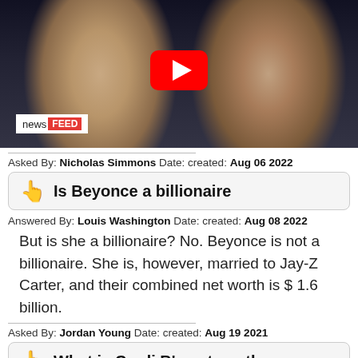[Figure (screenshot): Video thumbnail showing two women, with YouTube play button overlay and 'news FEED' badge in bottom left corner]
Asked By: Nicholas Simmons Date: created: Aug 06 2022
Is Beyonce a billionaire
Answered By: Louis Washington Date: created: Aug 08 2022
But is she a billionaire? No. Beyonce is not a billionaire. She is, however, married to Jay-Z Carter, and their combined net worth is $ 1.6 billion.
Asked By: Jordan Young Date: created: Aug 19 2021
What is Cardi B's net worth